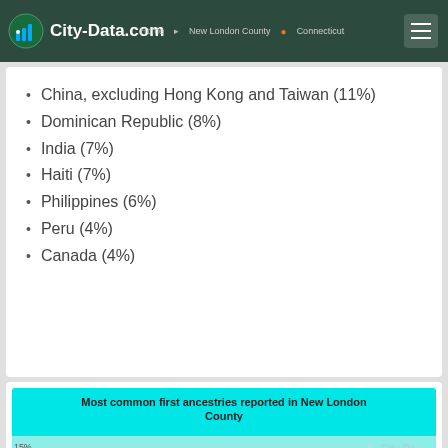City-Data.com
China, excluding Hong Kong and Taiwan (11%)
Dominican Republic (8%)
India (7%)
Haiti (7%)
Philippines (6%)
Peru (4%)
Canada (4%)
[Figure (bar-chart): Partial bar chart showing most common first ancestries in New London County, with y-axis labels at 15% and 10%, bars visible at bottom of chart]